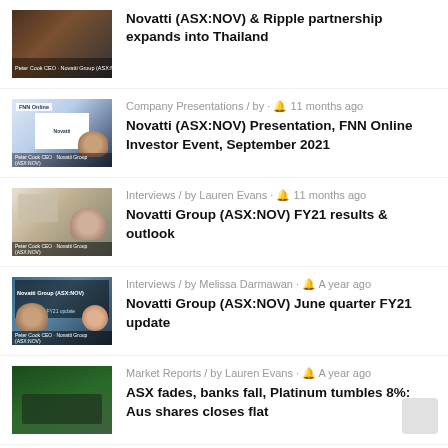Novatti (ASX:NOV) & Ripple partnership expands into Thailand
Company Presentations / by - 🔔 11 months ago
Novatti (ASX:NOV) Presentation, FNN Online Investor Event, September 2021
Interviews / by Lauren Evans - 🔔 11 months ago
Novatti Group (ASX:NOV) FY21 results & outlook
Interviews / by Melissa Darmawan - 🔔 A year ago
Novatti Group (ASX:NOV) June quarter FY21 update
Market Reports / by Lauren Evans - 🔔 A year ago
ASX fades, banks fall, Platinum tumbles 8%: Aus shares closes flat